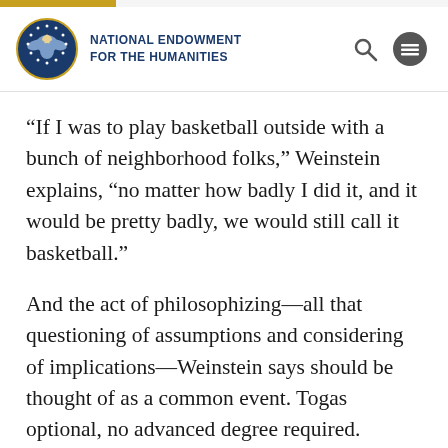NATIONAL ENDOWMENT FOR THE HUMANITIES
“If I was to play basketball outside with a bunch of neighborhood folks,” Weinstein explains, “no matter how badly I did it, and it would be pretty badly, we would still call it basketball.”
And the act of philosophizing—all that questioning of assumptions and considering of implications—Weinstein says should be thought of as a common event. Togas optional, no advanced degree required.